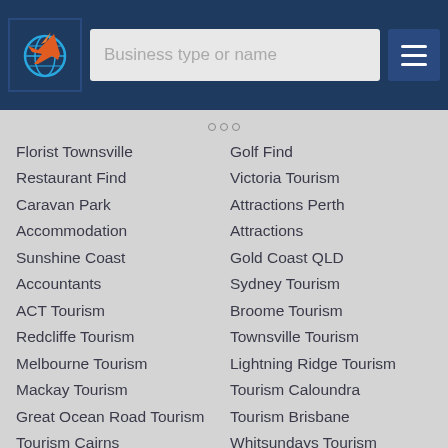[Figure (logo): Travel/tourism app logo with airplane and globe icon on dark navy background]
Business type or name
Florist Townsville
Restaurant Find
Caravan Park
Accommodation
Sunshine Coast
Accountants
ACT Tourism
Redcliffe Tourism
Melbourne Tourism
Mackay Tourism
Great Ocean Road Tourism
Tourism Cairns
Sunshine Coast Tourism
Tourism Gold Coast
South Australia Guide
QLD Tourism
Golf Find
Victoria Tourism
Attractions Perth
Attractions
Gold Coast QLD
Sydney Tourism
Broome Tourism
Townsville Tourism
Lightning Ridge Tourism
Tourism Caloundra
Tourism Brisbane
Whitsundays Tourism
Tourism Adelaide
Accommodation Find
New South Wales Tourism
Southport Accommodation